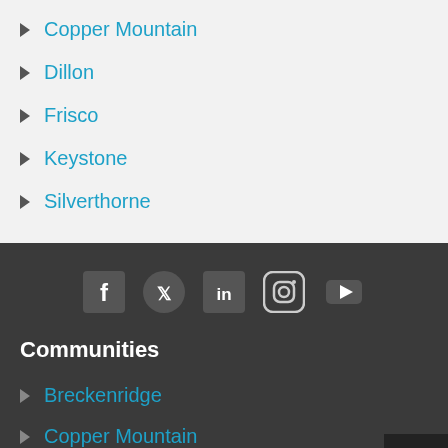Copper Mountain
Dillon
Frisco
Keystone
Silverthorne
[Figure (infographic): Social media icons row: Facebook, Twitter, LinkedIn, Instagram, YouTube on dark background]
Communities
Breckenridge
Copper Mountain
Dillon